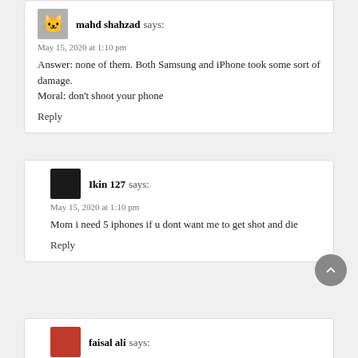mahd shahzad says:
May 15, 2020 at 1:10 pm
Answer: none of them. Both Samsung and iPhone took some sort of damage.
Moral: don't shoot your phone
Reply
Ikin 127 says:
May 15, 2020 at 1:10 pm
Mom i need 5 iphones if u dont want me to get shot and die
Reply
faisal ali says: